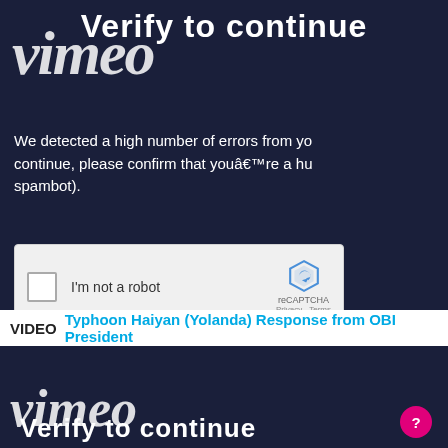Verify to continue
[Figure (screenshot): Vimeo logo overlaid with 'Verify to continue' heading on dark navy background]
We detected a high number of errors from your connection. To continue, please confirm that youâ€™re a human (and not a spambot).
[Figure (other): reCAPTCHA widget with checkbox labeled 'I'm not a robot' and reCAPTCHA logo with Privacy and Terms links]
VIDEO Typhoon Haiyan (Yolanda) Response from OBI President
[Figure (screenshot): Second Vimeo verify to continue screen on dark navy background with circular help button]